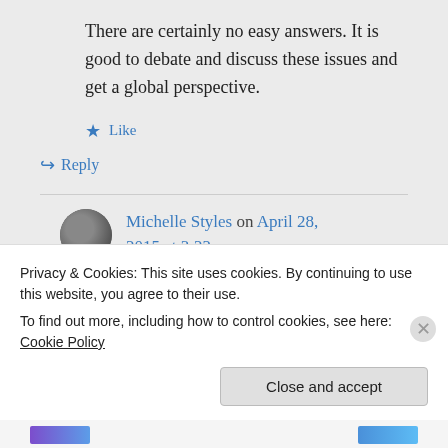There are certainly no easy answers. It is good to debate and discuss these issues and get a global perspective.
Like
Reply
Michelle Styles on April 28, 2015 at 3:22 pm
Privacy & Cookies: This site uses cookies. By continuing to use this website, you agree to their use.
To find out more, including how to control cookies, see here: Cookie Policy
Close and accept